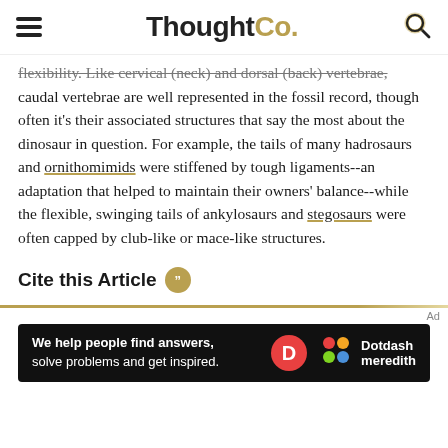ThoughtCo.
flexibility. Like cervical (neck) and dorsal (back) vertebrae, caudal vertebrae are well represented in the fossil record, though often it's their associated structures that say the most about the dinosaur in question. For example, the tails of many hadrosaurs and ornithomimids were stiffened by tough ligaments--an adaptation that helped to maintain their owners' balance--while the flexible, swinging tails of ankylosaurs and stegosaurs were often capped by club-like or mace-like structures.
Cite this Article
[Figure (other): Dotdash Meredith advertisement banner: 'We help people find answers, solve problems and get inspired.']